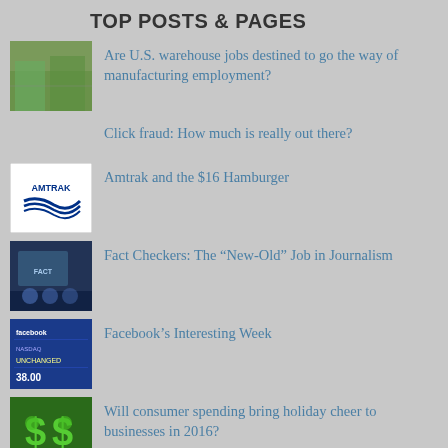TOP POSTS & PAGES
Are U.S. warehouse jobs destined to go the way of manufacturing employment?
Click fraud: How much is really out there?
Amtrak and the $16 Hamburger
Fact Checkers: The “New-Old” Job in Journalism
Facebook’s Interesting Week
Will consumer spending bring holiday cheer to businesses in 2016?
The Rise of Siri: Getting Set to Revolutionize Web Search?